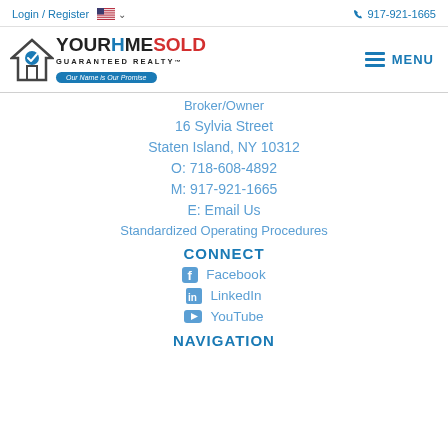Login / Register  🇺🇸 ∨   917-921-1665
[Figure (logo): Your Home Sold Guaranteed Realty logo with house icon and tagline 'Our Name is Our Promise']
Broker/Owner
16 Sylvia Street
Staten Island, NY 10312
O: 718-608-4892
M: 917-921-1665
E: Email Us
Standardized Operating Procedures
CONNECT
Facebook
LinkedIn
YouTube
NAVIGATION